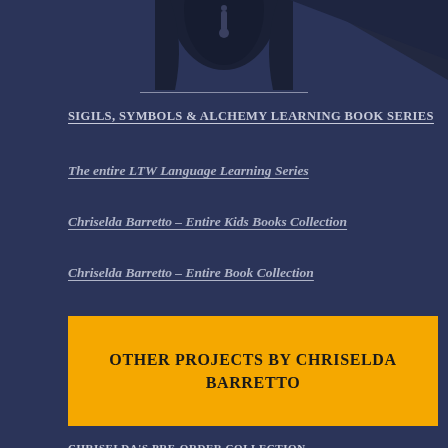[Figure (photo): Partial view of a dark figure or character silhouette at the top of the page, cropped]
SIGILS, SYMBOLS & ALCHEMY LEARNING BOOK SERIES
The entire LTW Language Learning Series
Chriselda Barretto – Entire Kids Books Collection
Chriselda Barretto – Entire Book Collection
OTHER PROJECTS BY CHRISELDA BARRETTO
CHRISELDA'S PRE-ORDER COLLECTION